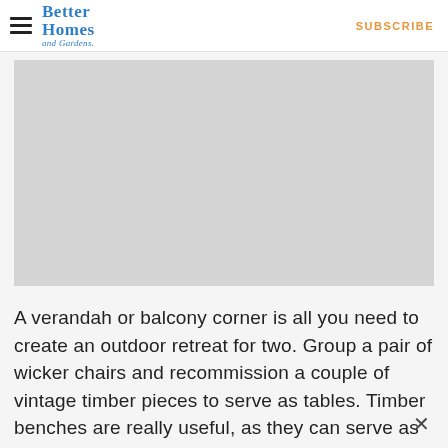Better Homes and Gardens | SUBSCRIBE
[Figure (photo): Gray placeholder image representing an outdoor verandah or balcony scene]
A verandah or balcony corner is all you need to create an outdoor retreat for two. Group a pair of wicker chairs and recommission a couple of vintage timber pieces to serve as tables. Timber benches are really useful, as they can serve as coffee tables and